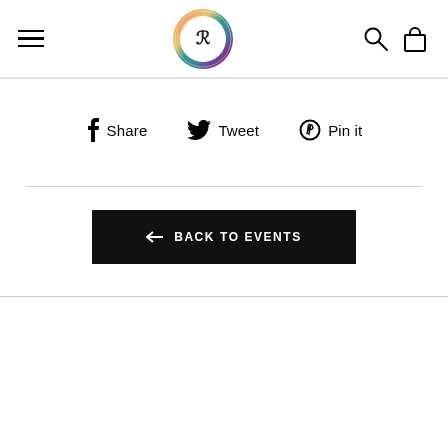Navigation header with hamburger menu, circular logo, search and cart icons
f Share   Tweet   Pin it
← BACK TO EVENTS